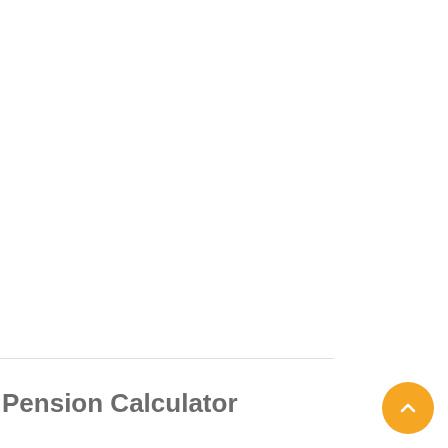Pension Calculator
[Figure (other): Orange circular scroll-to-top button with upward chevron arrow icon, positioned in the bottom-right corner]